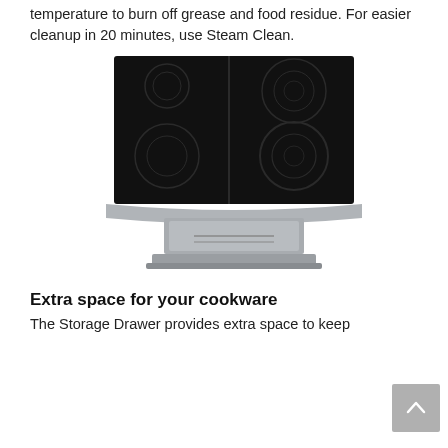temperature to burn off grease and food residue. For easier cleanup in 20 minutes, use Steam Clean.
[Figure (photo): Electric cooktop with black glass surface showing four burner rings, mounted on a stainless steel pedestal base with a storage drawer below.]
Extra space for your cookware
The Storage Drawer provides extra space to keep...